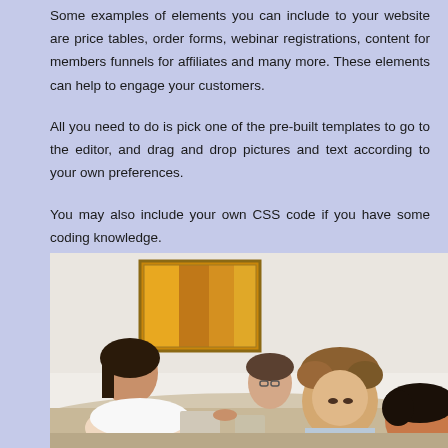Some examples of elements you can include to your website are price tables, order forms, webinar registrations, content for members funnels for affiliates and many more. These elements can help to engage your customers.
All you need to do is pick one of the pre-built templates to go to the editor, and drag and drop pictures and text according to your own preferences.
You may also include your own CSS code if you have some coding knowledge.
[Figure (photo): Group of people sitting around a table working together, with a framed orange/golden artwork on the wall behind them. Several people are looking down at devices or papers on the table.]